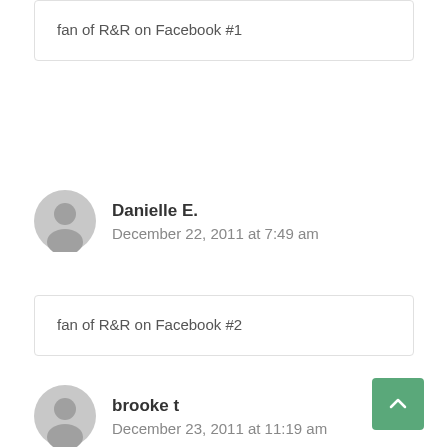fan of R&R on Facebook #1
Danielle E.
December 22, 2011 at 7:49 am
fan of R&R on Facebook #2
brooke t
December 23, 2011 at 11:19 am